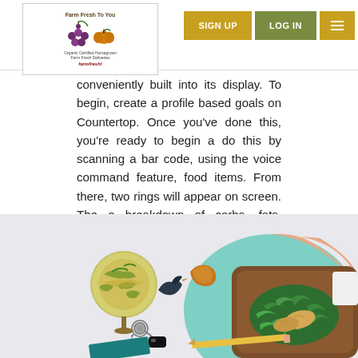Farm Fresh To You — SIGN UP | LOG IN | Menu
conveniently built into its display. To begin, create a profile based goals on Countertop. Once you've done this, you're ready to begin a do this by scanning a bar code, using the voice command feature, food items. From there, two rings will appear on screen. The o breakdown of carbs, fats, proteins, and calories per day. The inn balance.
[Figure (photo): Overhead photo of a food scene with a bowl of soup/salad on a globe stand, a dark ceramic bird figurine, an orange/amber shaped object, car keys, a pencil, a wooden tray with green salad and chicken pieces on a mint and peach colored plate/charger, and a white mug on a light background.]